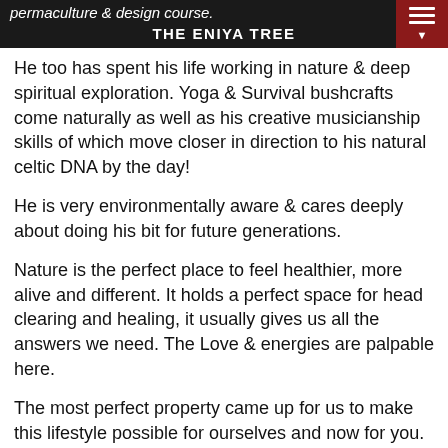permaculture & design course.
THE ENIYA TREE
He too has spent his life working in nature & deep spiritual exploration. Yoga & Survival bushcrafts come naturally as well as his creative musicianship skills of which move closer in direction to his natural celtic DNA by the day!
He is very environmentally aware & cares deeply about doing his bit for future generations.
Nature is the perfect place to feel healthier, more alive and different. It holds a perfect space for head clearing and healing, it usually gives us all the answers we need. The Love & energies are palpable here.
The most perfect property came up for us to make this lifestyle possible for ourselves and now for you.
We continue our wonder-full journey and hope you join us on this 'extra-ordinary' experience.